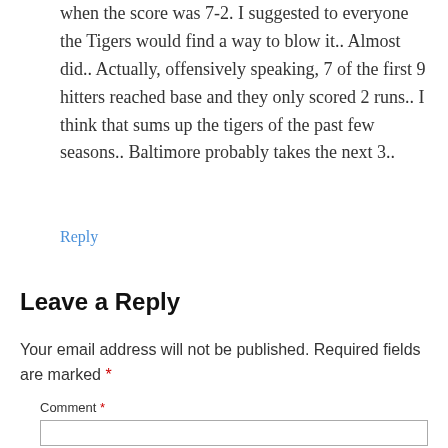when the score was 7-2. I suggested to everyone the Tigers would find a way to blow it.. Almost did.. Actually, offensively speaking, 7 of the first 9 hitters reached base and they only scored 2 runs.. I think that sums up the tigers of the past few seasons.. Baltimore probably takes the next 3..
Reply
Leave a Reply
Your email address will not be published. Required fields are marked *
Comment *